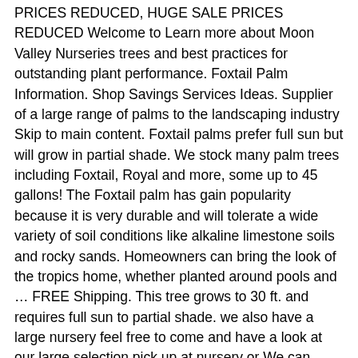PRICES REDUCED, HUGE SALE PRICES REDUCED Welcome to Learn more about Moon Valley Nurseries trees and best practices for outstanding plant performance. Foxtail Palm Information. Shop Savings Services Ideas. Supplier of a large range of palms to the landscaping industry Skip to main content. Foxtail palms prefer full sun but will grow in partial shade. We stock many palm trees including Foxtail, Royal and more, some up to 45 gallons! The Foxtail palm has gain popularity because it is very durable and will tolerate a wide variety of soil conditions like alkaline limestone soils and rocky sands. Homeowners can bring the look of the tropics home, whether planted around pools and … FREE Shipping. This tree grows to 30 ft. and requires full sun to partial shade. we also have a large nursery feel free to come and have a look at our large selection pick up at nursery or We can deliver call for price Palms designated with a sku ending in -4, or -6 will arrive in a standard 4 inch or 6 inch growers pot respectively. Price. Call our team today to get availability and pricing at 239-283-1329. thousands of plants on hand HUGE